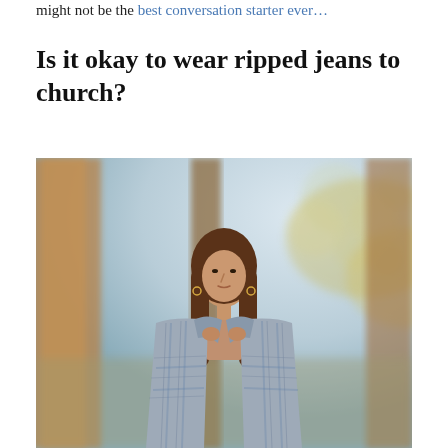might not be the best conversation starter ever…
Is it okay to wear ripped jeans to church?
[Figure (photo): A young woman with long brown hair stands outdoors in an autumn park setting. She wears an oversized plaid flannel shirt in blue/grey tones over a nude crop top. Trees with autumn foliage are visible in the blurred background.]